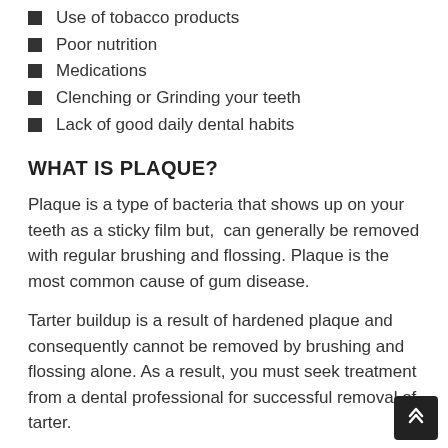Use of tobacco products
Poor nutrition
Medications
Clenching or Grinding your teeth
Lack of good daily dental habits
WHAT IS PLAQUE?
Plaque is a type of bacteria that shows up on your teeth as a sticky film but,  can generally be removed with regular brushing and flossing. Plaque is the most common cause of gum disease.
Tarter buildup is a result of hardened plaque and consequently cannot be removed by brushing and flossing alone. As a result, you must seek treatment from a dental professional for successful removal of tarter.
Symptoms of Gum Disease: